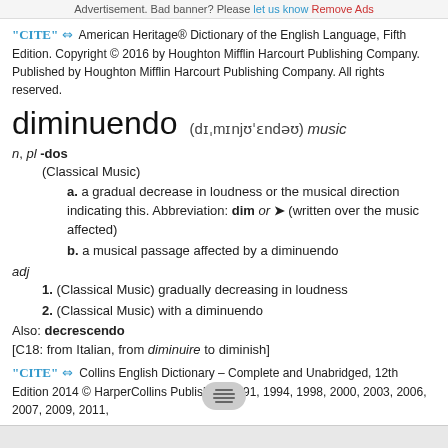Advertisement. Bad banner? Please let us know Remove Ads
"CITE" ⇔ American Heritage® Dictionary of the English Language, Fifth Edition. Copyright © 2016 by Houghton Mifflin Harcourt Publishing Company. Published by Houghton Mifflin Harcourt Publishing Company. All rights reserved.
diminuendo (dɪˌmɮnjʊˈɛndəʊ) music
n, pl -dos
(Classical Music)
a. a gradual decrease in loudness or the musical direction indicating this. Abbreviation: dim or ➤ (written over the music affected)
b. a musical passage affected by a diminuendo
adj
1. (Classical Music) gradually decreasing in loudness
2. (Classical Music) with a diminuendo
Also: decrescendo
[C18: from Italian, from diminuire to diminish]
"CITE" ⇔ Collins English Dictionary – Complete and Unabridged, 12th Edition 2014 © HarperCollins Publishers 1991, 1994, 1998, 2000, 2003, 2006, 2007, 2009, 2011,